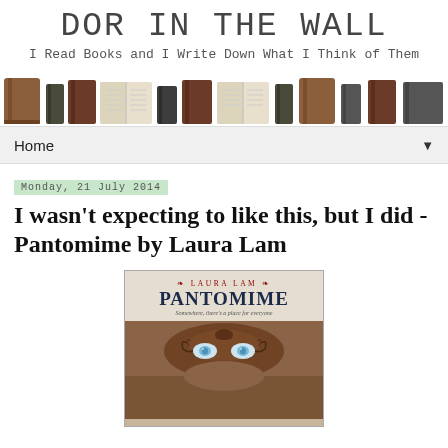Dor In The Wall
I Read Books and I Write Down What I Think of Them
[Figure (illustration): A row of illustrated book icons in various colors (brown, dark, beige, open book) repeating across the header banner]
Home
Monday, 21 July 2014
I wasn't expecting to like this, but I did - Pantomime by Laura Lam
[Figure (photo): Book cover of Pantomime by Laura Lam. Shows author name 'LAURA LAM' in red letters with decorative flourishes, title 'PANTOMIME' in large dark blue serif text, subtitle 'Somewhere, there's a place for everyone' in italic, and below a masked face with ornate brown mask over blue eyes.]